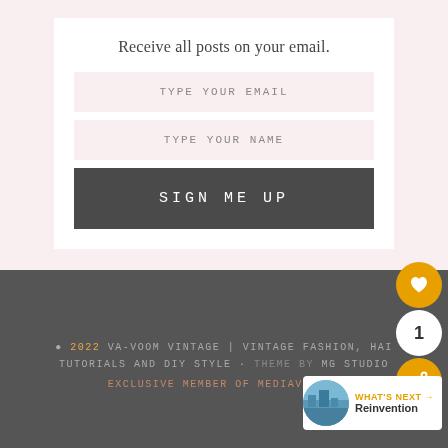Receive all posts on your email.
TYPE YOUR EMAIL
TYPE YOUR NAME
SIGN ME UP
© 2022 VA-VOOM VINTAGE | VINTAGE FASHION, HAIR TUTORIALS AND DIY STYLE · THEME BY MG STUDIO
EXCLUSIVE MEMBER OF MEDIAVINE F...
[Figure (other): Heart/like button (gold circle with white heart icon), count badge showing 1, share button (gold circle with share icon), and What's Next widget showing a city image thumbnail with label 'WHAT'S NEXT →' and title 'Reinvention']